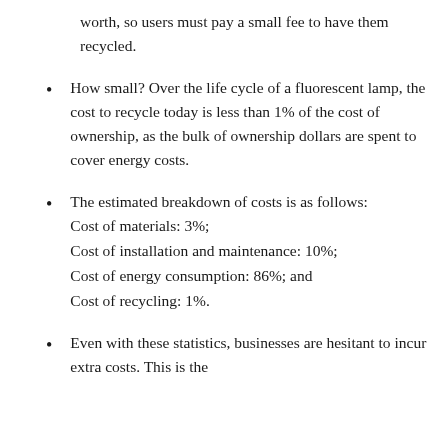worth, so users must pay a small fee to have them recycled.
How small? Over the life cycle of a fluorescent lamp, the cost to recycle today is less than 1% of the cost of ownership, as the bulk of ownership dollars are spent to cover energy costs.
The estimated breakdown of costs is as follows: Cost of materials: 3%; Cost of installation and maintenance: 10%; Cost of energy consumption: 86%; and Cost of recycling: 1%.
Even with these statistics, businesses are hesitant to incur extra costs. This is the